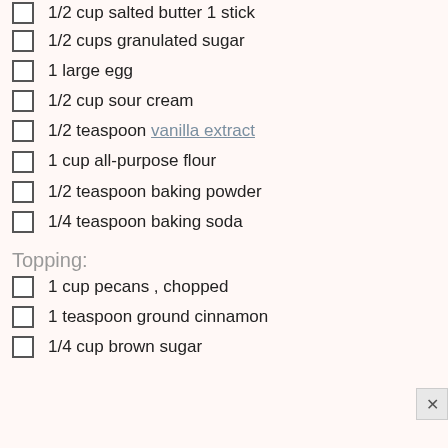1/2 cup salted butter 1 stick (partial, cut off at top)
1/2 cups granulated sugar
1 large egg
1/2 cup sour cream
1/2 teaspoon vanilla extract
1 cup all-purpose flour
1/2 teaspoon baking powder
1/4 teaspoon baking soda
Topping:
1 cup pecans , chopped
1 teaspoon ground cinnamon
1/4 cup brown sugar